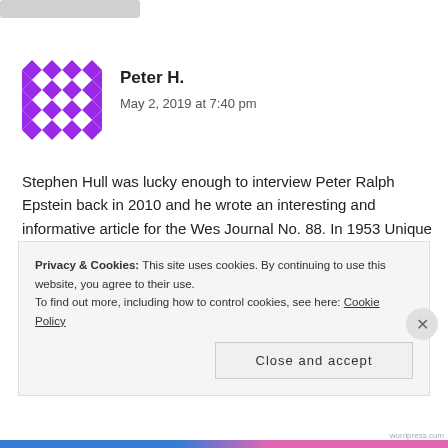[Figure (illustration): Purple geometric avatar icon for user Peter H.]
Peter H.
May 2, 2019 at 7:40 pm
Stephen Hull was lucky enough to interview Peter Ralph Epstein back in 2010 and he wrote an interesting and informative article for the Wes Journal No. 88. In 1953 Unique turned down an order from F.W. Woolworth so that they could keep their regular retail customers supplied. Woolworth subsequently approached Union directly and offered to take their entire production at a higher price.
Privacy & Cookies: This site uses cookies. By continuing to use this website, you agree to their use. To find out more, including how to control cookies, see here: Cookie Policy
Close and accept